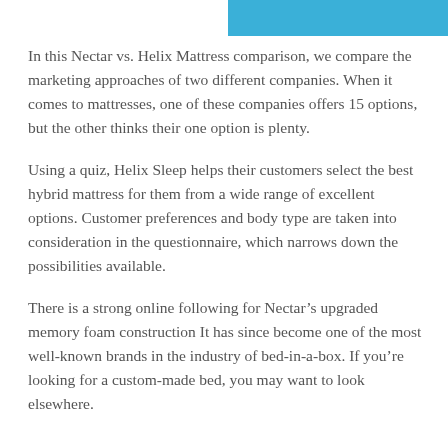In this Nectar vs. Helix Mattress comparison, we compare the marketing approaches of two different companies. When it comes to mattresses, one of these companies offers 15 options, but the other thinks their one option is plenty.
Using a quiz, Helix Sleep helps their customers select the best hybrid mattress for them from a wide range of excellent options. Customer preferences and body type are taken into consideration in the questionnaire, which narrows down the possibilities available.
There is a strong online following for Nectar’s upgraded memory foam construction It has since become one of the most well-known brands in the industry of bed-in-a-box. If you’re looking for a custom-made bed, you may want to look elsewhere.